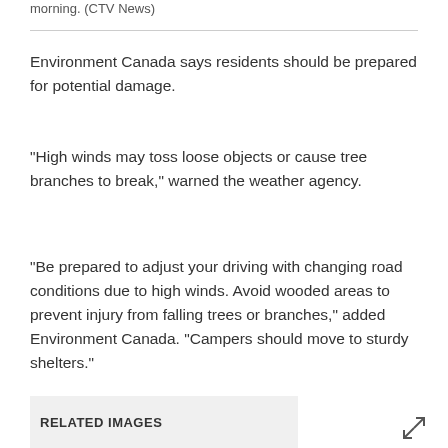morning. (CTV News)
Environment Canada says residents should be prepared for potential damage.
"High winds may toss loose objects or cause tree branches to break," warned the weather agency.
"Be prepared to adjust your driving with changing road conditions due to high winds. Avoid wooded areas to prevent injury from falling trees or branches," added Environment Canada. "Campers should move to sturdy shelters."
RELATED IMAGES